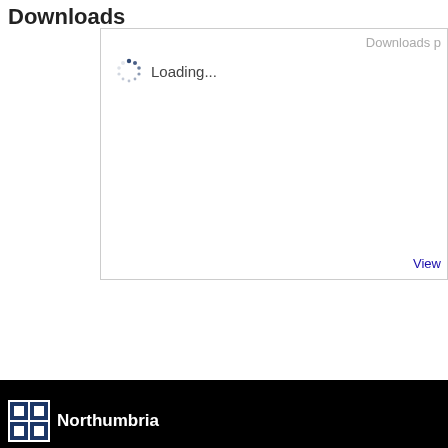Downloads
[Figure (screenshot): A web widget box showing 'Downloads p...' text in top-right and a loading spinner with 'Loading...' text, and a 'View' link at bottom-right]
Northumbria